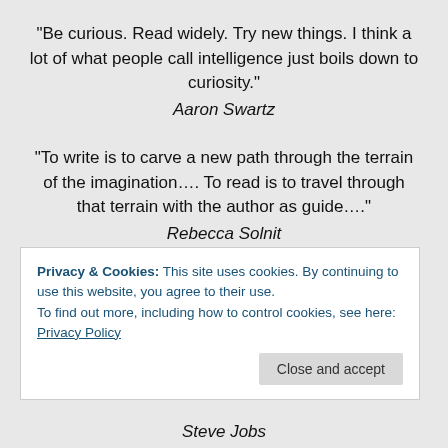"Be curious. Read widely. Try new things. I think a lot of what people call intelligence just boils down to curiosity."
Aaron Swartz
"To write is to carve a new path through the terrain of the imagination…. To read is to travel through that terrain with the author as guide…."
Rebecca Solnit
"A civilized person is one who is able, at all times and in
Privacy & Cookies: This site uses cookies. By continuing to use this website, you agree to their use.
To find out more, including how to control cookies, see here: Privacy Policy
Close and accept
Steve Jobs